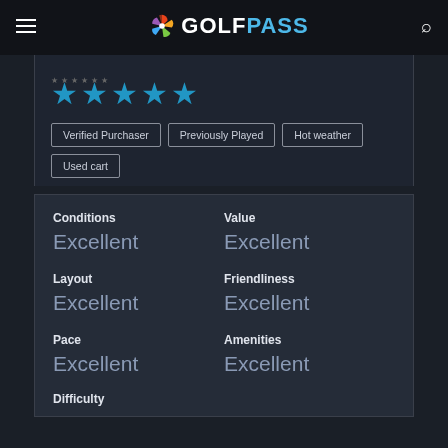GOLFPASS
★★★★★
Verified Purchaser
Previously Played
Hot weather
Used cart
| Category | Rating |
| --- | --- |
| Conditions | Excellent |
| Value | Excellent |
| Layout | Excellent |
| Friendliness | Excellent |
| Pace | Excellent |
| Amenities | Excellent |
| Difficulty |  |